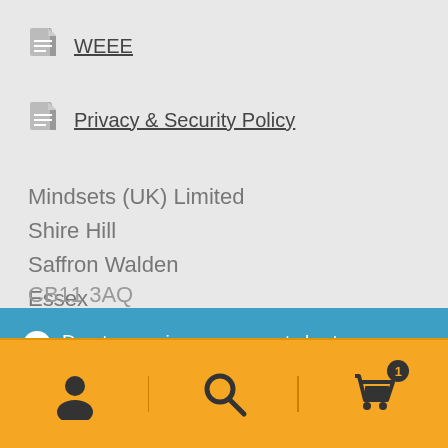WEEE
Privacy & Security Policy
Mindsets (UK) Limited
Shire Hill
Saffron Walden
Essex
CB11 3AQ
Due to ongoing component shortages, some out-of-stock items may have a longer lead time. Please contact us for availability.
Dismiss
[Figure (other): Bottom navigation bar with user account icon, search icon, and shopping cart icon with badge showing count 1]